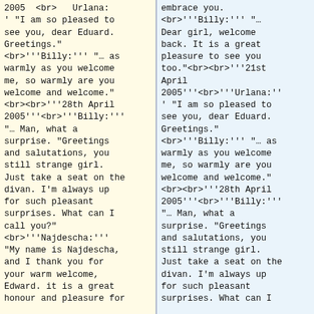2005 <br>  Urlana: ' "I am so pleased to see you, dear Eduard. Greetings." <br>'''Billy:''' "… as warmly as you welcome me, so warmly are you welcome and welcome." <br><br>'''28th April 2005'''<br>'''Billy:''' "… Man, what a surprise. "Greetings and salutations, you still strange girl. Just take a seat on the divan. I'm always up for such pleasant surprises. What can I call you?" <br>'''Najdescha:''' "My name is Najdescha, and I thank you for your warm welcome, Edward. it is a great honour and pleasure for
embrace you. <br>'''Billy:''' "… Dear girl, welcome back. It is a great pleasure to see you too."<br><br>'''21st April 2005'''<br>'''Urlana:''' "I am so pleased to see you, dear Eduard. Greetings." <br>'''Billy:''' "… as warmly as you welcome me, so warmly are you welcome and welcome." <br><br>'''28th April 2005'''<br>'''Billy:''' "… Man, what a surprise. "Greetings and salutations, you still strange girl. Just take a seat on the divan. I'm always up for such pleasant surprises. What can I